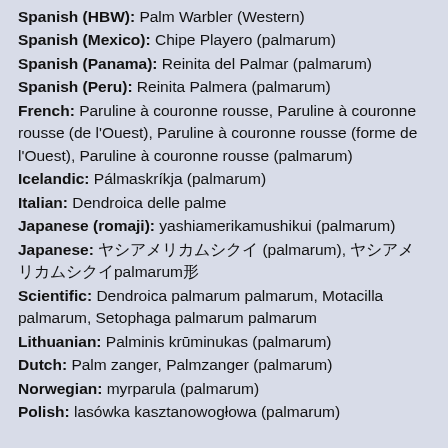Spanish (HBW): Palm Warbler (Western)
Spanish (Mexico): Chipe Playero (palmarum)
Spanish (Panama): Reinita del Palmar (palmarum)
Spanish (Peru): Reinita Palmera (palmarum)
French: Paruline à couronne rousse, Paruline à couronne rousse (de l'Ouest), Paruline à couronne rousse (forme de l'Ouest), Paruline à couronne rousse (palmarum)
Icelandic: Pálmaskríkja (palmarum)
Italian: Dendroica delle palme
Japanese (romaji): yashiamerikamushikui (palmarum)
Japanese: ヤシアメリカムシクイ (palmarum), ヤシアメリカムシクイpalmarum形
Scientific: Dendroica palmarum palmarum, Motacilla palmarum, Setophaga palmarum palmarum
Lithuanian: Palminis krūminukas (palmarum)
Dutch: Palm zanger, Palmzanger (palmarum)
Norwegian: myrparula (palmarum)
Polish: lasówka kasztanowogłowa (palmarum)